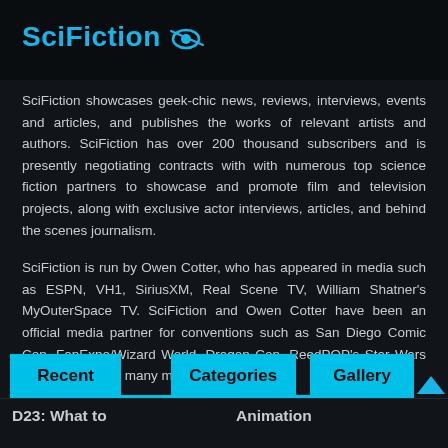SciFiction
SciFiction showcases geek-chic news, reviews, interviews, events and articles, and publishes the works of relevant artists and authors. SciFiction has over 200 thousand subscribers and is presently negotiating contracts with with numerous top science fiction partners to showcase and promote film and television projects, along with exclusive actor interviews, articles, and behind the scenes journalism.
SciFiction is run by Owen Cotter, who has appeared in media such as ESPN, VH1, SiriusXM, Real Scene TV, William Shatner's MyOuterSpace TV. SciFiction and Owen Cotter have been an official media partner for conventions such as San Diego Comic Con, FanExpo/Wizard World, Dragon Con, ReedPOP's Star Wars Celebration, and many more!
Recent
Categories
Gallery
D23: What to
Animation